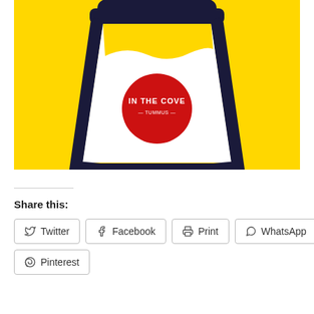[Figure (illustration): Yellow background illustration of a takeaway coffee cup with a dark navy outline. The cup is white/cream colored with a wavy top edge. A red circular logo sticker on the cup reads 'IN THE COVE' with additional small text below it. The cup has a dark navy lid at the top.]
Share this:
Twitter
Facebook
Print
WhatsApp
Pinterest